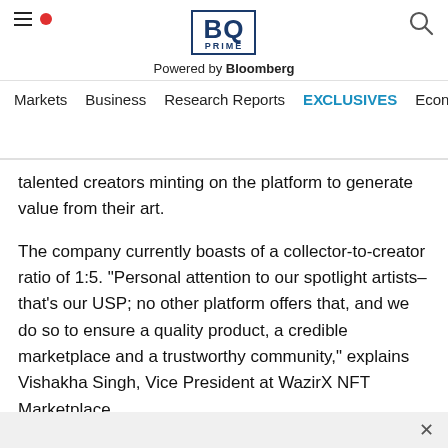BQ PRIME — Powered by Bloomberg — Navigation: Markets, Business, Research Reports, EXCLUSIVES, Economy
talented creators minting on the platform to generate value from their art.
The company currently boasts of a collector-to-creator ratio of 1:5. "Personal attention to our spotlight artists–that's our USP; no other platform offers that, and we do so to ensure a quality product, a credible marketplace and a trustworthy community," explains Vishakha Singh, Vice President at WazirX NFT Marketplace.
Easy discoverability is another calling card for WazirX NFT The company plans to launch community-led invite actio...